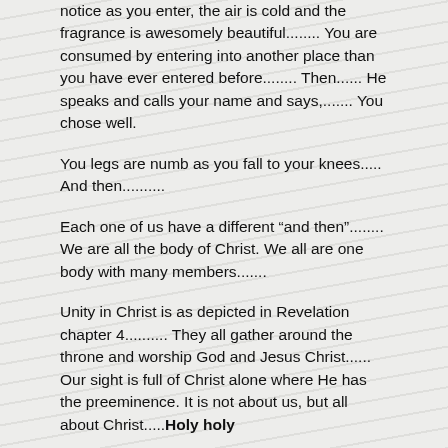notice as you enter, the air is cold and the fragrance is awesomely beautiful........ You are consumed by entering into another place than you have ever entered before....... Then...... He speaks and calls your name and says,....... You chose well.
You legs are numb as you fall to your knees..... And then..........
Each one of us have a different “and then”........ We are all the body of Christ. We all are one body with many members.......
Unity in Christ is as depicted in Revelation chapter 4.......... They all gather around the throne and worship God and Jesus Christ...... Our sight is full of Christ alone where He has the preeminence. It is not about us, but all about Christ......Holy holy